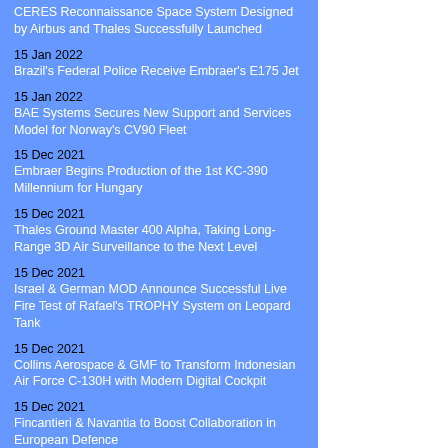CERES Reconnaissance Space System Designed by Airbus and Thales Successfully Launched
15 Jan 2022
Brazil's Federal Police Receive Embraer's E175 Jet
15 Jan 2022
BAE Systems Secures New Support and Services Model for Norway’s CV90 Fleet
15 Dec 2021
Embraer Begins Production of the 1st KC-390 Millennium for Hungary
15 Dec 2021
Thales Ground Master 400 Alpha, Taking Long-Range 3D Air Surveillance to the Next Level
15 Dec 2021
Israel & German MOD Announce Successful Live Fire Test of Rafael's TROPHY System on Leopard Tank
15 Dec 2021
Collins Aerospace & GMF to Transform Indonesian Air Force C-130H with Modern Digital Cockpit
15 Dec 2021
Fincantieri & Navantia to Boost Collaboration in European Defence